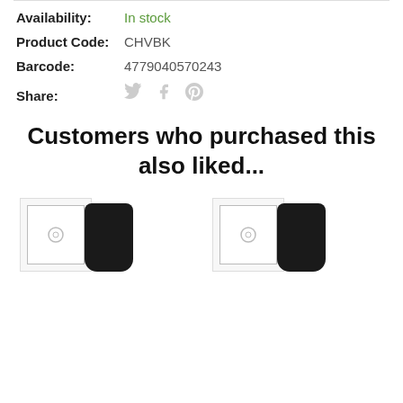Availability: In stock
Product Code: CHVBK
Barcode: 4779040570243
Share: [Twitter] [Facebook] [Pinterest]
Customers who purchased this also liked...
[Figure (photo): Two product package boxes with black accessories shown at the bottom of the page]